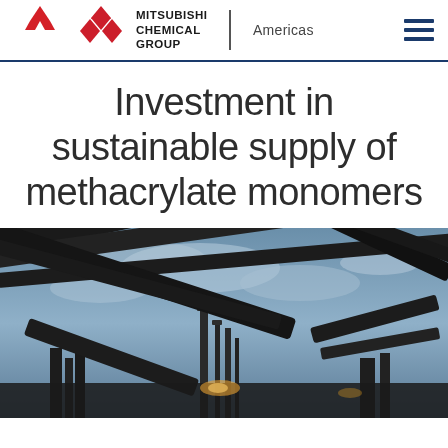MITSUBISHI CHEMICAL GROUP | Americas
Investment in sustainable supply of methacrylate monomers
[Figure (photo): Industrial chemical plant or refinery photographed from a low angle at dusk/dawn, showing large pipes, towers, and processing equipment against a cloudy blue sky, with some lighting visible at the base of structures.]